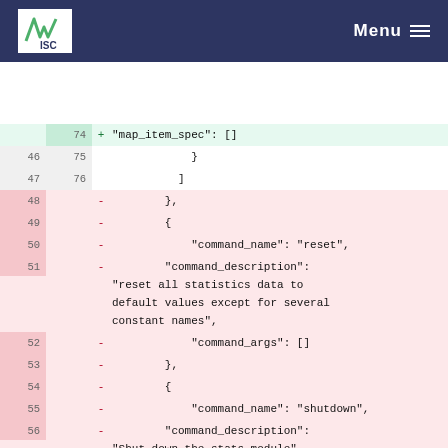ISC Menu
[Figure (screenshot): Code diff view showing JSON file changes with line numbers, added lines (green background), removed lines (pink background), and unchanged lines (white background). Content includes map_item_spec, command_name, command_description, command_args entries for reset and shutdown commands, and statistics field.]